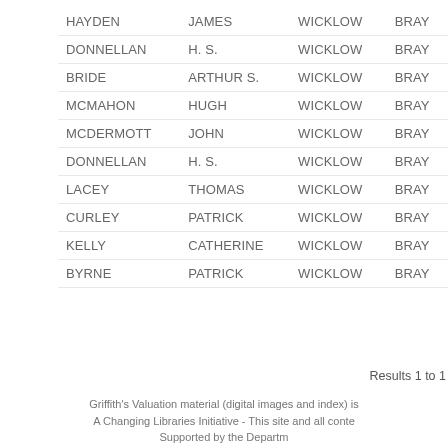| HAYDEN | JAMES | WICKLOW | BRAY |
| DONNELLAN | H. S. | WICKLOW | BRAY |
| BRIDE | ARTHUR S. | WICKLOW | BRAY |
| MCMAHON | HUGH | WICKLOW | BRAY |
| MCDERMOTT | JOHN | WICKLOW | BRAY |
| DONNELLAN | H. S. | WICKLOW | BRAY |
| LACEY | THOMAS | WICKLOW | BRAY |
| CURLEY | PATRICK | WICKLOW | BRAY |
| KELLY | CATHERINE | WICKLOW | BRAY |
| BYRNE | PATRICK | WICKLOW | BRAY |
Results 1 to 1…
Griffith's Valuation material (digital images and index) is…
A Changing Libraries Initiative - This site and all conte… Supported by the Departm…